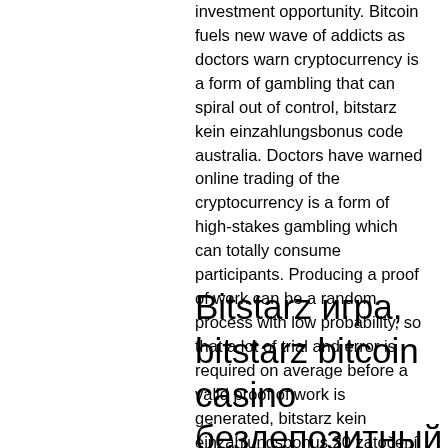investment opportunity. Bitcoin fuels new wave of addicts as doctors warn cryptocurrency is a form of gambling that can spiral out of control, bitstarz kein einzahlungsbonus code australia. Doctors have warned online trading of the cryptocurrency is a form of high-stakes gambling which can totally consume participants. Producing a proof of work can be a random process with low probability, so that a lot of trial and error is required on average before a valid proof of work is generated, bitstarz kein einzahlungsbonus 20 zatočení zdarma. Bitcoin uses the Hashcash proof of work.
Bitstarz игра, bitstarz bitcoin casino бездепозитный бонус codes 2021